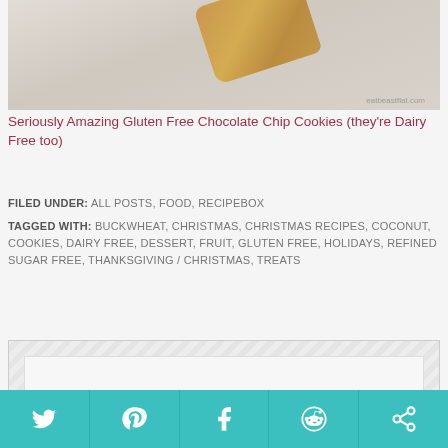[Figure (photo): Overhead photo of gluten free chocolate chip cookies on a light background, with a website watermark in the bottom right corner]
Seriously Amazing Gluten Free Chocolate Chip Cookies (they're Dairy Free too)
FILED UNDER: ALL POSTS, FOOD, RECIPEBOX
TAGGED WITH: BUCKWHEAT, CHRISTMAS, CHRISTMAS RECIPES, COCONUT, COOKIES, DAIRY FREE, DESSERT, FRUIT, GLUTEN FREE, HOLIDAYS, REFINED SUGAR FREE, THANKSGIVING / CHRISTMAS, TREATS
[Figure (other): Advertisement placeholder with diagonal stripe border pattern and white inner content area]
[Figure (other): Social media share bar with Twitter, Pinterest, Facebook, Reddit, and another social icon buttons on teal background]